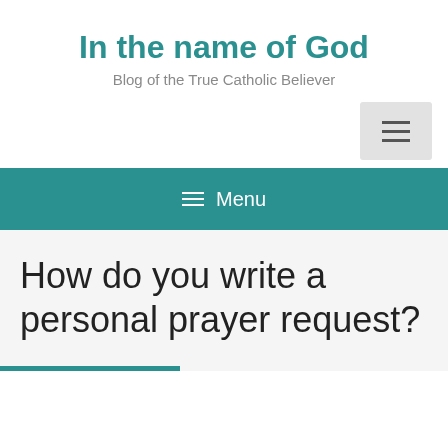In the name of God
Blog of the True Catholic Believer
[Figure (other): Hamburger menu button icon (three horizontal lines) on a light gray square background]
☰ Menu
How do you write a personal prayer request?